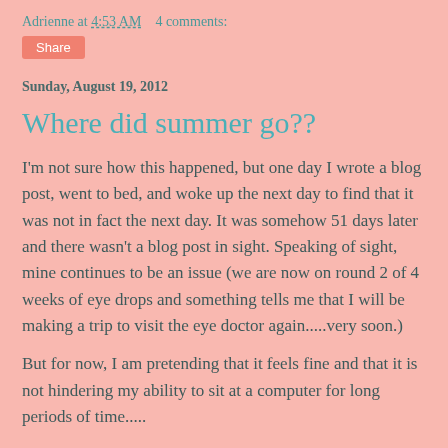Adrienne at 4:53 AM    4 comments:
Share
Sunday, August 19, 2012
Where did summer go??
I'm not sure how this happened, but one day I wrote a blog post, went to bed, and woke up the next day to find that it was not in fact the next day. It was somehow 51 days later and there wasn't a blog post in sight. Speaking of sight, mine continues to be an issue (we are now on round 2 of 4 weeks of eye drops and something tells me that I will be making a trip to visit the eye doctor again.....very soon.)
But for now, I am pretending that it feels fine and that it is not hindering my ability to sit at a computer for long periods of time.....